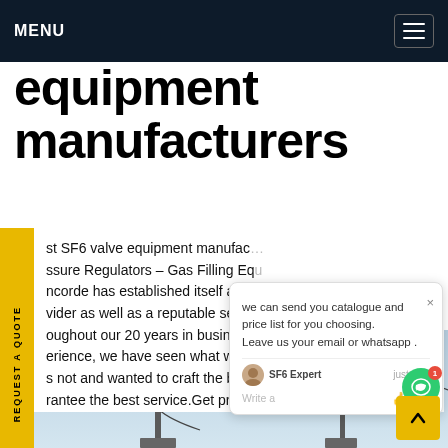MENU
equipment manufacturers
st SF6 valve equipment manufacturers ssure Regulators – Gas Filling Equ ncorde has established itself as a vider as well as a reputable serv oughout our 20 years in busin erience, we have seen what wor s not and wanted to craft the best tools to rantee the best service.Get price
we can send you catalogue and price list for you choosing. Leave us your email or whatsapp .
SF6 Expert   just now
Write a
REQUEST A QUOTE
[Figure (photo): Power transmission tower / electricity pylons against a cloudy sky, viewed from below]